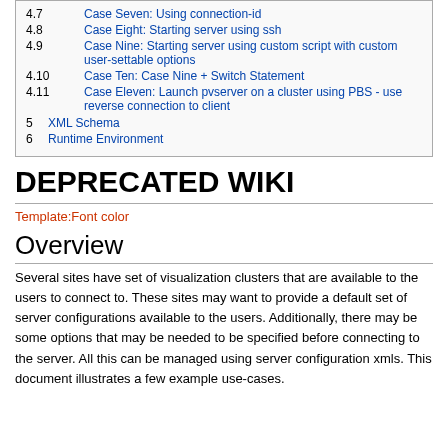4.7 Case Seven: Using connection-id
4.8 Case Eight: Starting server using ssh
4.9 Case Nine: Starting server using custom script with custom user-settable options
4.10 Case Ten: Case Nine + Switch Statement
4.11 Case Eleven: Launch pvserver on a cluster using PBS - use reverse connection to client
5 XML Schema
6 Runtime Environment
DEPRECATED WIKI
Template:Font color
Overview
Several sites have set of visualization clusters that are available to the users to connect to. These sites may want to provide a default set of server configurations available to the users. Additionally, there may be some options that may be needed to be specified before connecting to the server. All this can be managed using server configuration xmls. This document illustrates a few example use-cases.